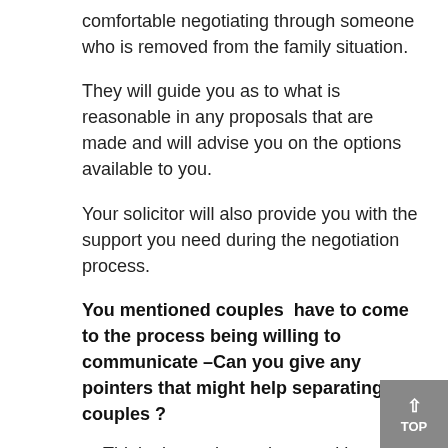comfortable negotiating through someone who is removed from the family situation.
They will guide you as to what is reasonable in any proposals that are made and will advise you on the options available to you.
Your solicitor will also provide you with the support you need during the negotiation process.
You mentioned couples have to come to the process being willing to communicate –Can you give any pointers that might help separating couples ?
Think about when, where and how often you are going to discuss things.